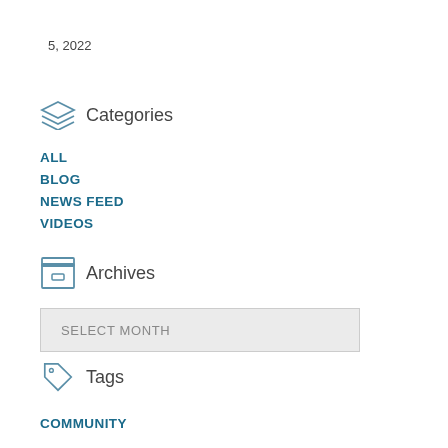5, 2022
Categories
ALL
BLOG
NEWS FEED
VIDEOS
Archives
SELECT MONTH
Tags
COMMUNITY